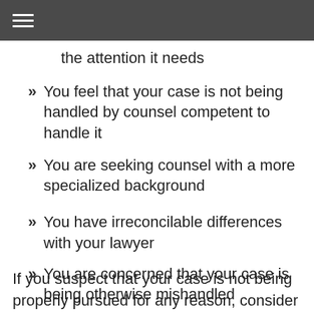the attention it needs
You feel that your case is not being handled by counsel competent to handle it
You are seeking counsel with a more specialized background
You have irreconcilable differences with your lawyer
You are concerned that your case is being otherwise mishandled
If you suspect that your case is not being properly pursued for any reason, consider